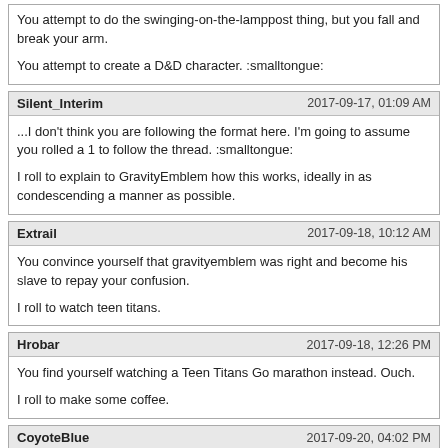You attempt to do the swinging-on-the-lamppost thing, but you fall and break your arm.

You attempt to create a D&D character. :smalltongue:
Silent_Interim	2017-09-17, 01:09 AM
...I don't think you are following the format here. I'm going to assume you rolled a 1 to follow the thread. :smalltongue:

I roll to explain to GravityEmblem how this works, ideally in as condescending a manner as possible.
Extrail	2017-09-18, 10:12 AM
You convince yourself that gravityemblem was right and become his slave to repay your confusion.

I roll to watch teen titans.
Hrobar	2017-09-18, 12:26 PM
You find yourself watching a Teen Titans Go marathon instead. Ouch.

I roll to make some coffee.
CoyoteBlue	2017-09-20, 04:02 PM
You discover there are exactly zero coffee beans in the house, and collapse to the floor in a sobbing heap of caffeine withdrawal.

I roll to find my lost sheep in a blizzard.